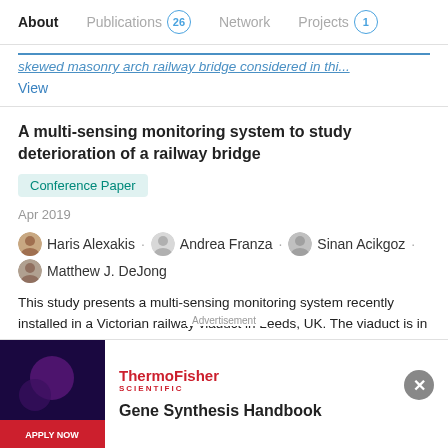About  Publications 26  Network  Projects 1
skewed masonry arch railway bridge considered in thi...
View
A multi-sensing monitoring system to study deterioration of a railway bridge
Conference Paper
Apr 2019
Haris Alexakis · Andrea Franza · Sinan Acikgoz · Matthew J. DeJong
This study presents a multi-sensing monitoring system recently installed in a Victorian railway viaduct in Leeds, UK. The viaduct is in continuous use since its construction during the 19 th century and suffers extensive cracking due to the combined
[Figure (screenshot): Advertisement banner for ThermoFisher Scientific Gene Synthesis Handbook with dark promotional image on left and text on right]
Advertisement